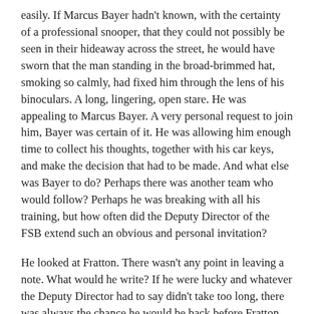easily. If Marcus Bayer hadn't known, with the certainty of a professional snooper, that they could not possibly be seen in their hideaway across the street, he would have sworn that the man standing in the broad-brimmed hat, smoking so calmly, had fixed him through the lens of his binoculars. A long, lingering, open stare. He was appealing to Marcus Bayer. A very personal request to join him, Bayer was certain of it. He was allowing him enough time to collect his thoughts, together with his car keys, and make the decision that had to be made. And what else was Bayer to do? Perhaps there was another team who would follow? Perhaps he was breaking with all his training, but how often did the Deputy Director of the FSB extend such an obvious and personal invitation?
He looked at Fratton. There wasn't any point in leaving a note. What would he write? If he were lucky and whatever the Deputy Director had to say didn't take too long, there was always the chance he would be back before Fratton awoke. If he were unlucky, a note wasn't going to make the slightest scrap of difference. He would probably be fired, with or without Fratton's support. Bayer found a blanket and draped it carefully over his sleeping colleague whilst silently praying to the distantly forsaken Lord above that he didn't wake him